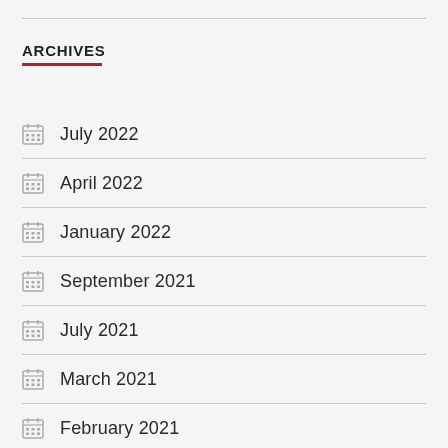ARCHIVES
July 2022
April 2022
January 2022
September 2021
July 2021
March 2021
February 2021